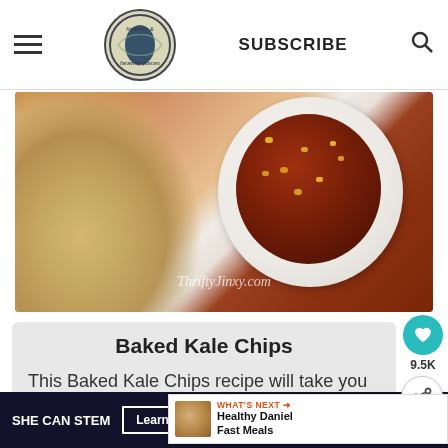food fun & faraway places — SUBSCRIBE
[Figure (photo): Bowl of chili with corn and beans served with tortilla chips on a white plate, watermark reads ThriftyJinxy.com]
Baked Kale Chips
This Baked Kale Chips recipe will take you a total of 20 minu… prepare and make, including cook
SHE CAN STEM  Learn More  ad council